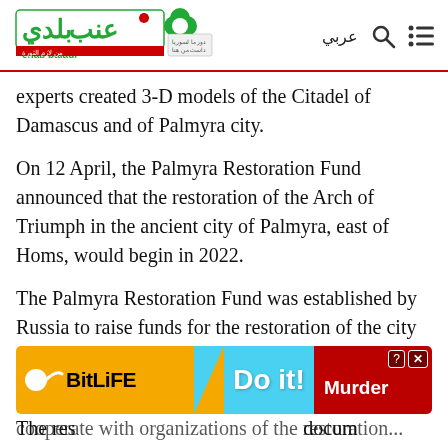Enab Baladi – عربي
experts created 3-D models of the Citadel of Damascus and of Palmyra city.
On 12 April, the Palmyra Restoration Fund announced that the restoration of the Arch of Triumph in the ancient city of Palmyra, east of Homs, would begin in 2022.
The Palmyra Restoration Fund was established by Russia to raise funds for the restoration of the city of Palmyra, in cooperation with a number of international bodies and museums.
The res[toration aimed at] docum[enting the archaeological site] [and making it possib]le to [cooperate] with organizations of the restoration...
[Figure (screenshot): BitLife mobile game advertisement banner with orange left section showing BitLife logo, cyan center section with 'Do it!' text, and red right section with 'Murder' text and close/question buttons]